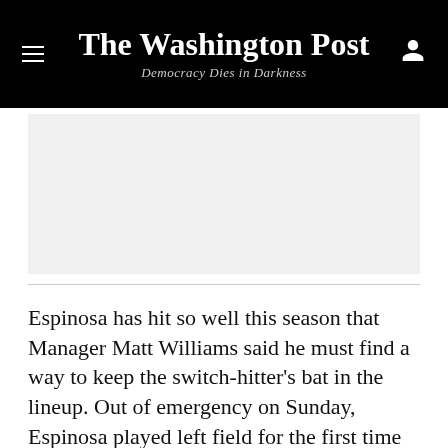The Washington Post
Democracy Dies in Darkness
[Figure (other): Advertisement placeholder box with light gray background]
Espinosa has hit so well this season that Manager Matt Williams said he must find a way to keep the switch-hitter's bat in the lineup. Out of emergency on Sunday, Espinosa played left field for the first time in his professional career. He did extra pregame work in left field on Tuesday, suggesting it wasn't simply out of